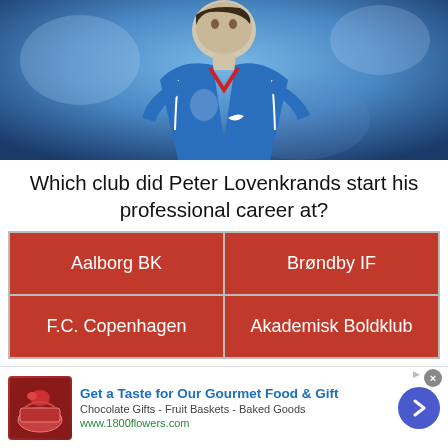[Figure (photo): Soccer player wearing blue Rangers FC jersey running on pitch]
Which club did Peter Lovenkrands start his professional career at?
Aalborg BK
Brøndby IF
F.C. Copenhagen
Akademisk Boldklub
Why would Gilmour be a good signing
[Figure (other): Advertisement: Get a Taste for Our Gourmet Food & Gift - Chocolate Gifts - Fruit Baskets - Baked Goods - www.1800flowers.com]